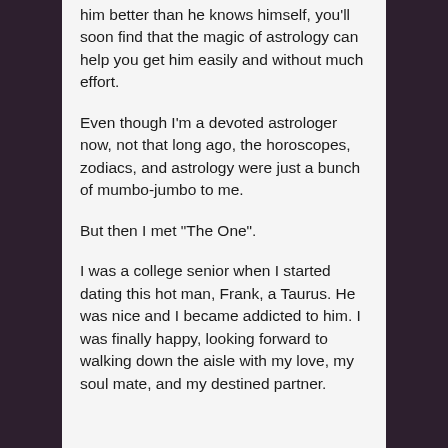him better than he knows himself, you'll soon find that the magic of astrology can help you get him easily and without much effort.
Even though I'm a devoted astrologer now, not that long ago, the horoscopes, zodiacs, and astrology were just a bunch of mumbo-jumbo to me.
But then I met “The One”.
I was a college senior when I started dating this hot man, Frank, a Taurus. He was nice and I became addicted to him. I was finally happy, looking forward to walking down the aisle with my love, my soul mate, and my destined partner.